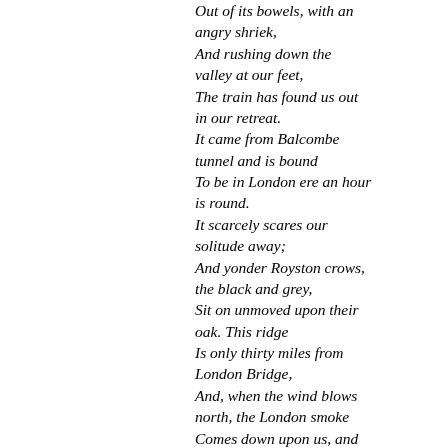Out of its bowels, with an angry shriek,
And rushing down the valley at our feet,
The train has found us out in our retreat.
It came from Balcombe tunnel and is bound
To be in London ere an hour is round.
It scarcely scares our solitude away;
And yonder Royston crows, the black and grey,
Sit on unmoved upon their oak. This ridge
Is only thirty miles from London Bridge,
And, when the wind blows north, the London smoke
Comes down upon us, and the grey crows croak,
For the great city seems to reach about
With its dark arms, and grip them by the throat.